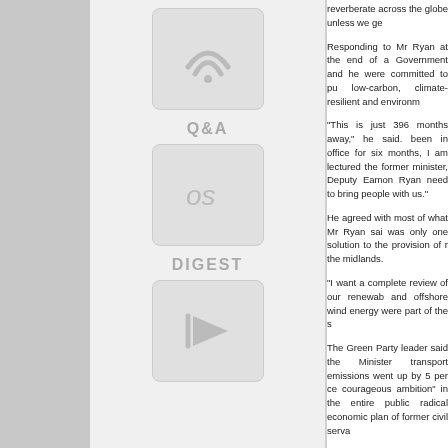[Figure (other): Sidebar icon: wifi/broadcast signal symbol in a rounded square]
Q&A
[Figure (other): Sidebar icon: 'os' letters symbol in a rounded square]
DIGEST
[Figure (other): Sidebar icon: play/forward arrow symbol in a rounded square]
reverberate across the globe unless we ge

Responding to Mr Ryan at the end of a Government and he were committed to pu low-carbon, climate-resilient and environm

"This is just 396 months away," he said. been in office for six months, I am lectured the former minister, Deputy Eamon Ryan need to bring people with us."

He agreed with most of what Mr Ryan sai was only one solution to the provision of r the midlands.

"I want a complete review of our renewab and offshore wind energy were part of the s

The Green Party leader said the Minister transport emissions went up by 5 per ce courageous ambition" in the entire public radical economic plan of former civil serva

People have to be persuaded, not lectured